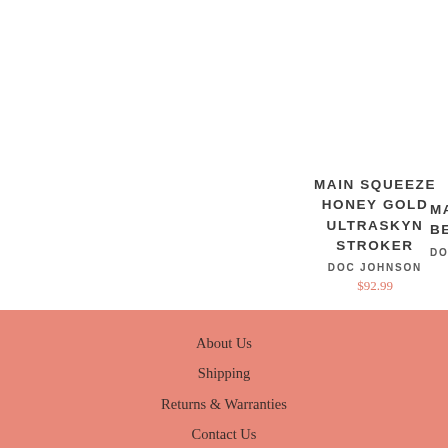MAIN SQUEEZE HONEY GOLD ULTRASKYN STROKER
DOC JOHNSON
$92.99
MAI BE
DO
About Us
Shipping
Returns & Warranties
Contact Us
Terms & Conditio...